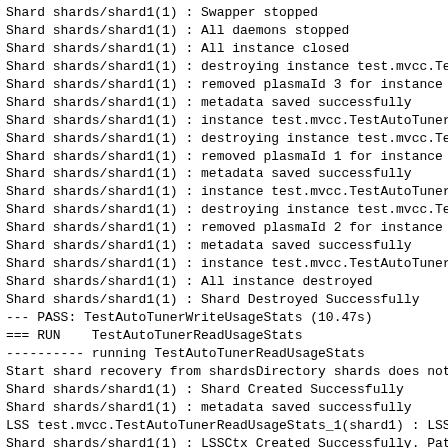Shard shards/shard1(1) : Swapper stopped
Shard shards/shard1(1) : All daemons stopped
Shard shards/shard1(1) : All instance closed
Shard shards/shard1(1) : destroying instance test.mvcc.Te
Shard shards/shard1(1) : removed plasmaId 3 for instance
Shard shards/shard1(1) : metadata saved successfully
Shard shards/shard1(1) : instance test.mvcc.TestAutoTuner
Shard shards/shard1(1) : destroying instance test.mvcc.Te
Shard shards/shard1(1) : removed plasmaId 1 for instance
Shard shards/shard1(1) : metadata saved successfully
Shard shards/shard1(1) : instance test.mvcc.TestAutoTuner
Shard shards/shard1(1) : destroying instance test.mvcc.Te
Shard shards/shard1(1) : removed plasmaId 2 for instance
Shard shards/shard1(1) : metadata saved successfully
Shard shards/shard1(1) : instance test.mvcc.TestAutoTuner
Shard shards/shard1(1) : All instance destroyed
Shard shards/shard1(1) : Shard Destroyed Successfully
--- PASS: TestAutoTunerWriteUsageStats (10.47s)
=== RUN    TestAutoTunerReadUsageStats
---------- running TestAutoTunerReadUsageStats
Start shard recovery from shardsDirectory shards does not
Shard shards/shard1(1) : Shard Created Successfully
Shard shards/shard1(1) : metadata saved successfully
LSS test.mvcc.TestAutoTunerReadUsageStats_1(shard1) : LSS
Shard shards/shard1(1) : LSSCtx Created Successfully. Pat
LSS test.mvcc.TestAutoTunerReadUsageStats_1/recovery(shar
Shard shards/shard1(1) : LSSCtx Created Successfully. Pat
Shard shards/shard1(1) : Map plasma instance (test.mvcc.
Shard shards/shard1(1) : Shard.doRecovery: Starting recov
LSS test.mvcc.TestAutoTunerReadUsageStats_1/recovery(sha